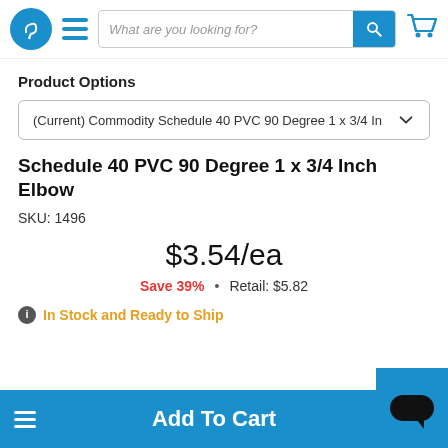Navigation bar with logo, hamburger menu, search bar, and cart icon
Product Options
(Current) Commodity Schedule 40 PVC 90 Degree 1 x 3/4 In
Schedule 40 PVC 90 Degree 1 x 3/4 Inch Elbow
SKU: 1496
$3.54/ea
Save 39%  •  Retail: $5.82
In Stock and Ready to Ship
Add To Cart  1  +